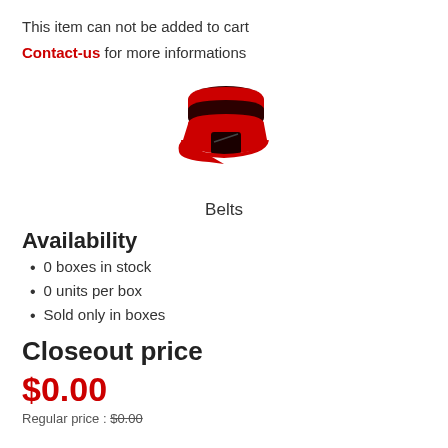This item can not be added to cart
Contact-us for more informations
[Figure (illustration): Red and dark brown belts icon/logo illustration]
Belts
Availability
0 boxes in stock
0 units per box
Sold only in boxes
Closeout price
$0.00
Regular price : $0.00